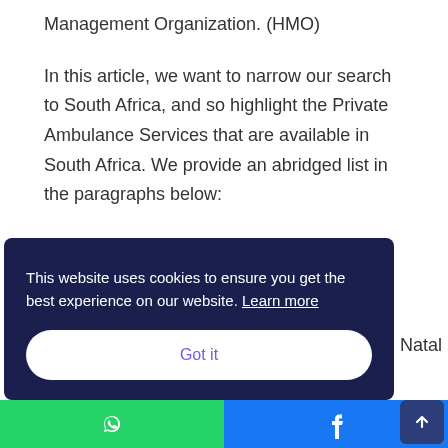Management Organization. (HMO)
In this article, we want to narrow our search to South Africa, and so highlight the Private Ambulance Services that are available in South Africa. We provide an abridged list in the paragraphs below:
List Of Private Ambulance Services In South Africa
Natal
This website uses cookies to ensure you get the best experience on our website. Learn more
Got it